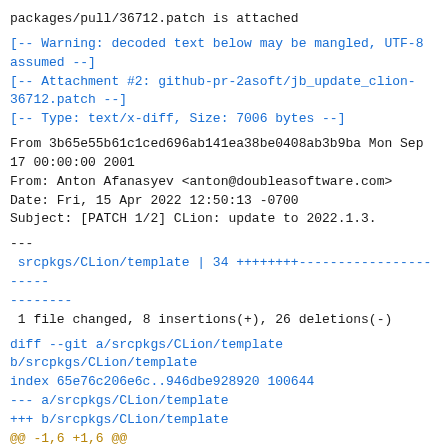packages/pull/36712.patch is attached
[-- Warning: decoded text below may be mangled, UTF-8 assumed --]
[-- Attachment #2: github-pr-2asoft/jb_update_clion-36712.patch --]
[-- Type: text/x-diff, Size: 7006 bytes --]
From 3b65e55b61c1ced696ab141ea38be0408ab3b9ba Mon Sep 17 00:00:00 2001
From: Anton Afanasyev <anton@doubleasoftware.com>
Date: Fri, 15 Apr 2022 12:50:13 -0700
Subject: [PATCH 1/2] CLion: update to 2022.1.3.
---
 srcpkgs/CLion/template | 34 ++++++++----------------------
 1 file changed, 8 insertions(+), 26 deletions(-)
diff --git a/srcpkgs/CLion/template
b/srcpkgs/CLion/template
index 65e76c206e6c..946dbe928920 100644
--- a/srcpkgs/CLion/template
+++ b/srcpkgs/CLion/template
@@ -1,6 +1,6 @@
 # Template file for 'CLion'
 pkgname=CLion
-version=2021.3.4
+version=2022.1.3
 revision=1